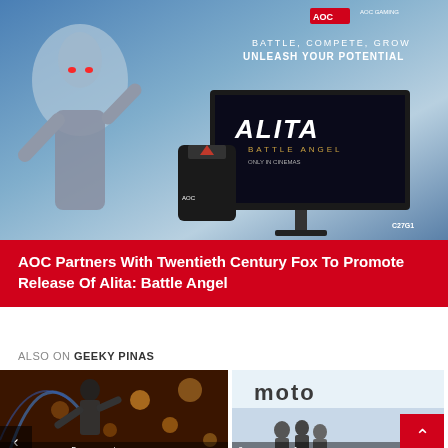[Figure (illustration): AOC Gaming promotional banner featuring the Alita: Battle Angel character in a silver bodysuit with glowing red eyes, a gaming monitor displaying the Alita logo, a black AOC jacket, and the text BATTLE, COMPETE, GROW / UNLEASH YOUR POTENTIAL with AOC Gaming branding and C27G1 model label.]
AOC Partners With Twentieth Century Fox To Promote Release Of Alita: Battle Angel
ALSO ON GEEKY PINAS
[Figure (photo): Thumbnail of a person performing on stage with colorful bokeh background, with caption showing years ago and 5 comments.]
[Figure (photo): Thumbnail of a Motorola store front with balloons and people, with caption showing 6 years ago and 1 comment.]